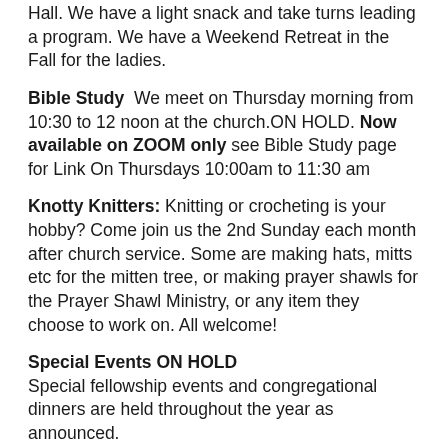Hall. We have a light snack and take turns leading a program. We have a Weekend Retreat in the Fall for the ladies.
Bible Study  We meet on Thursday morning from 10:30 to 12 noon at the church.ON HOLD. Now available on ZOOM only see Bible Study page for Link On Thursdays 10:00am to 11:30 am
Knotty Knitters: Knitting or crocheting is your hobby? Come join us the 2nd Sunday each month after church service. Some are making hats, mitts etc for the mitten tree, or making prayer shawls for the Prayer Shawl Ministry, or any item they choose to work on. All welcome!
Special Events ON HOLD
Special fellowship events and congregational dinners are held throughout the year as announced.
Church Picnic in June, 2022
Christmas Tea-Wednesday, December